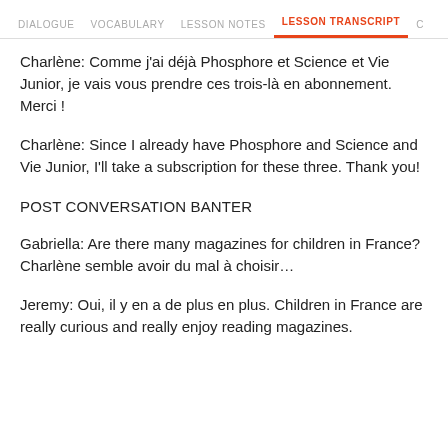DIALOGUE  VOCABULARY  LESSON NOTES  LESSON TRANSCRIPT  C
Charlène: Comme j'ai déjà Phosphore et Science et Vie Junior, je vais vous prendre ces trois-là en abonnement. Merci !
Charlène: Since I already have Phosphore and Science and Vie Junior, I'll take a subscription for these three. Thank you!
POST CONVERSATION BANTER
Gabriella: Are there many magazines for children in France? Charlène semble avoir du mal à choisir…
Jeremy: Oui, il y en a de plus en plus. Children in France are really curious and really enjoy reading magazines.